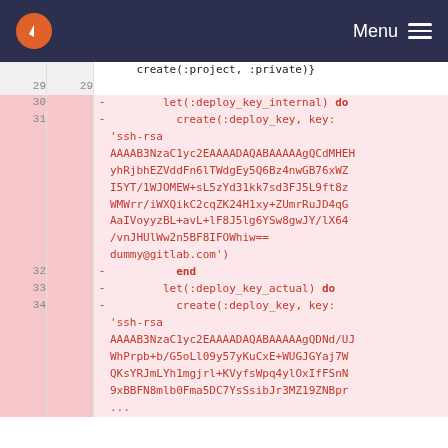Menu
[Figure (screenshot): Code diff view showing Ruby test code with deleted lines (red background). Lines 29-34 visible with SSH key strings being removed from deploy key setup.]